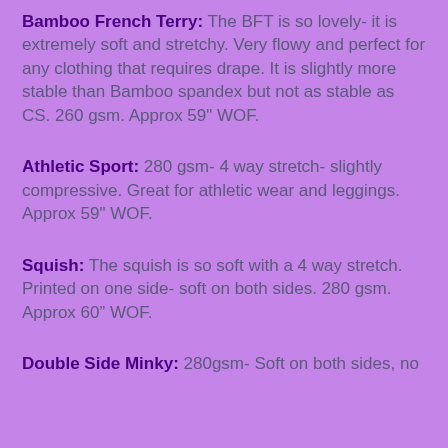Bamboo French Terry: The BFT is so lovely- it is extremely soft and stretchy. Very flowy and perfect for any clothing that requires drape. It is slightly more stable than Bamboo spandex but not as stable as CS. 260 gsm. Approx 59" WOF.
Athletic Sport: 280 gsm- 4 way stretch- slightly compressive. Great for athletic wear and leggings. Approx 59" WOF.
Squish: The squish is so soft with a 4 way stretch. Printed on one side- soft on both sides. 280 gsm. Approx 60” WOF.
Double Side Minky: 280gsm- Soft on both sides, no